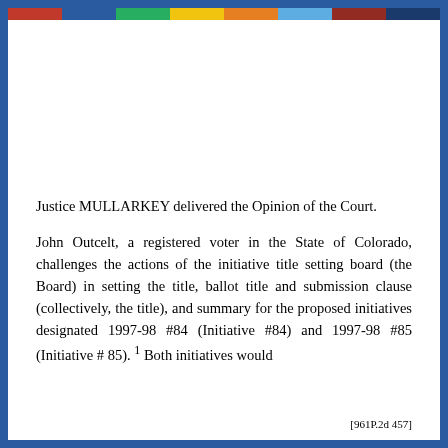[Figure (other): Rainbow-colored horizontal bar at the top of the page, consisting of multiple colored segments: red, blue, green, yellow, orange, light blue, dark red/maroon, and dark blue.]
Justice MULLARKEY delivered the Opinion of the Court.
John Outcelt, a registered voter in the State of Colorado, challenges the actions of the initiative title setting board (the Board) in setting the title, ballot title and submission clause (collectively, the title), and summary for the proposed initiatives designated 1997-98 #84 (Initiative #84) and 1997-98 #85 (Initiative # 85). 1 Both initiatives would
[961P.2d 457]